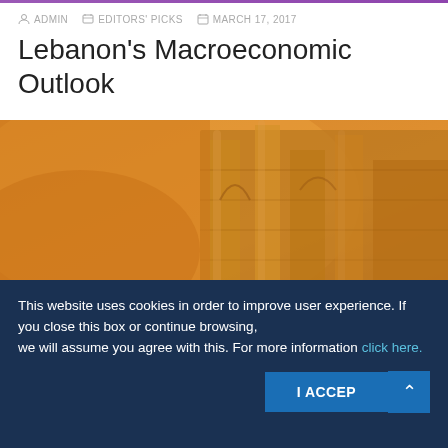ADMIN  EDITORS' PICKS  MARCH 17, 2017
Lebanon's Macroeconomic Outlook
[Figure (photo): Photograph of an ancient stone building/ruins with warm orange-amber tones, likely a historical Lebanese or Middle Eastern architectural site.]
This website uses cookies in order to improve user experience. If you close this box or continue browsing, we will assume you agree with this. For more information click here.
I ACCEPT